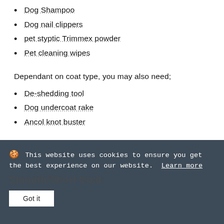Dog Shampoo
Dog nail clippers
pet styptic Trimmex powder
Pet cleaning wipes
Dependant on coat type, you may also need;
De-shedding tool
Dog undercoat rake
Ancol knot buster
Check through the sections below, to discover which tools would suit your dog’s coat type.
This website uses cookies to ensure you get the best experience on our website. Learn more  Got it  Smooth/Short Coat